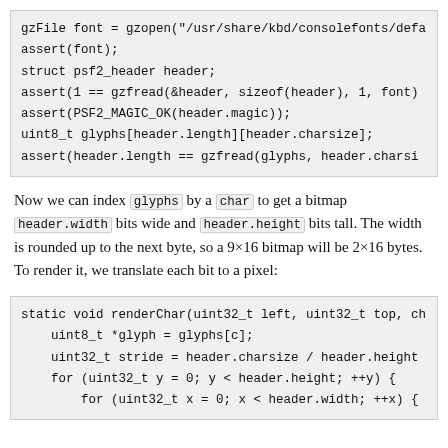[Figure (other): Code block showing gzFile and struct psf2_header operations with assert and gzfread calls]
Now we can index glyphs by a char to get a bitmap header.width bits wide and header.height bits tall. The width is rounded up to the next byte, so a 9×16 bitmap will be 2×16 bytes. To render it, we translate each bit to a pixel:
[Figure (other): Code block showing static void renderChar function with uint8_t glyph, uint32_t stride, nested for loops]